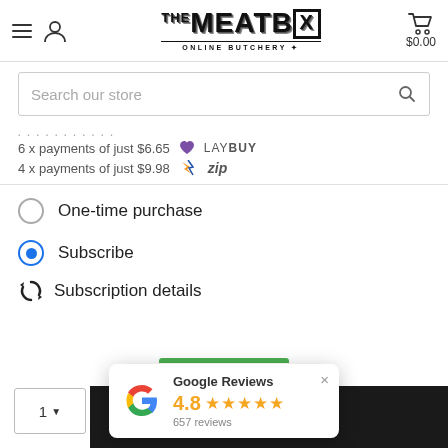THE MEATBOX ONLINE BUTCHERY — $0.00
Search our store
6 x payments of just $6.65 LAYBUY
4 x payments of just $9.98 zip
One-time purchase
Subscribe
Subscription details
1
[Figure (other): Google Reviews popup widget showing rating 4.8 stars with 657 reviews]